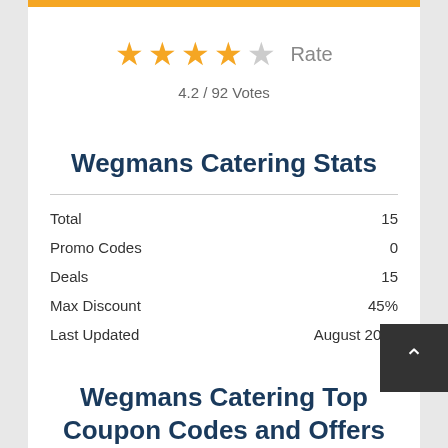[Figure (other): Gold/orange horizontal bar at the top of the white card]
[Figure (other): 4 filled gold stars and 1 empty grey star rating display with 'Rate' label]
4.2 / 92 Votes
Wegmans Catering Stats
|  |  |
| --- | --- |
| Total | 15 |
| Promo Codes | 0 |
| Deals | 15 |
| Max Discount | 45% |
| Last Updated | August 2022 |
Wegmans Catering Top Coupon Codes and Offers